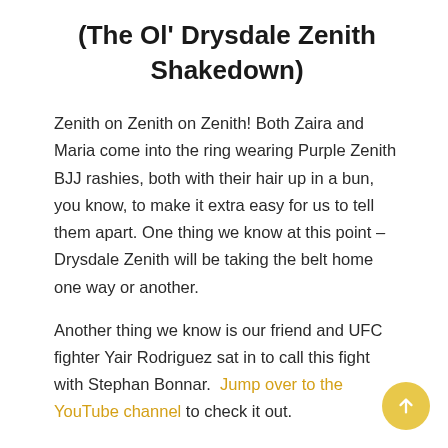(The Ol' Drysdale Zenith Shakedown)
Zenith on Zenith on Zenith!  Both Zaira and Maria come into the ring wearing Purple Zenith BJJ rashies, both with their hair up in a bun, you know, to make it extra easy for us to tell them apart.  One thing we know at this point – Drysdale Zenith will be taking the belt home one way or another.
Another thing we know is our friend and UFC fighter Yair Rodriguez sat in to call this fight with Stephan Bonnar.  Jump over to the YouTube channel to check it out.